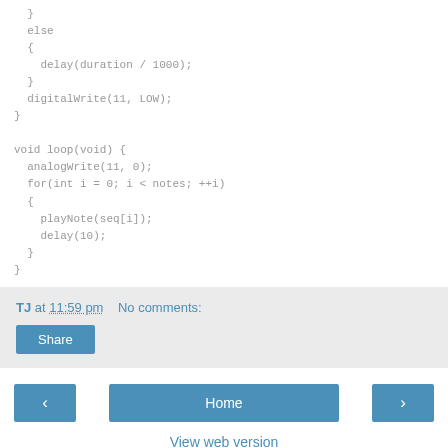}
else
{
    delay(duration / 1000);
}
digitalWrite(11, LOW);
}

void loop(void) {
  analogWrite(11, 0);
  for(int i = 0; i < notes; ++i)
  {
    playNote(seq[i]);
    delay(10);
  }
}
TJ at 11:59 pm   No comments:
Share
< Home > View web version